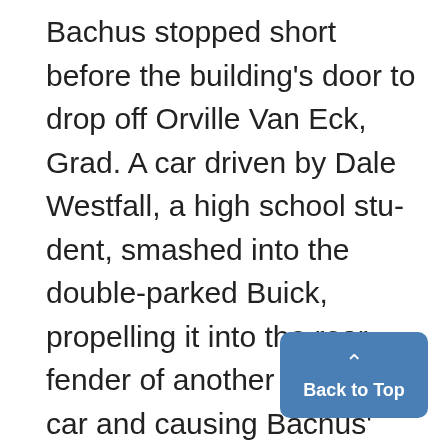Bachus stopped short before the building's door to drop off Orville Van Eck, Grad. A car driven by Dale Westfall, a high school student, smashed into the double-parked Buick, propelling it into the rear fender of another parked car and causing Bachus' head to hit a sun-visor.
Neither of the other men were hurt and Bachus was discharged from the Health Service after treatment.
Morse Raps Taft